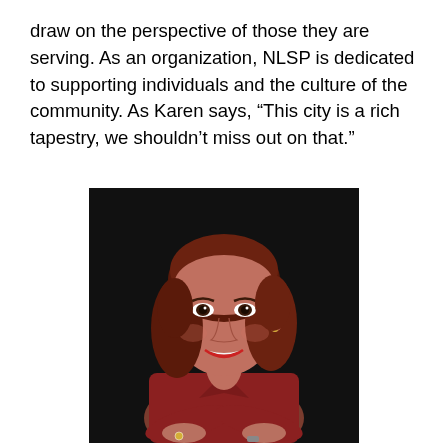draw on the perspective of those they are serving. As an organization, NLSP is dedicated to supporting individuals and the culture of the community. As Karen says, “This city is a rich tapestry, we shouldn’t miss out on that.”
[Figure (photo): Professional headshot of a woman with reddish-brown hair, wearing a red jacket, arms crossed, smiling, against a dark background.]